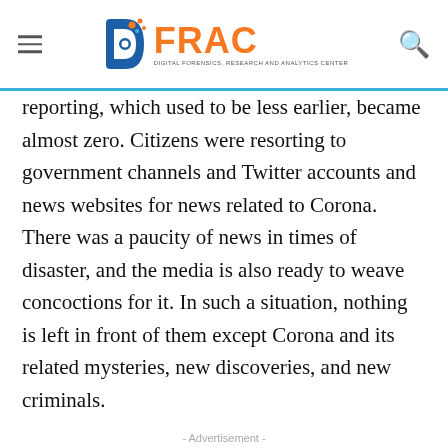DFRAC - Digital Forensics, Research and Analytics Center
reporting, which used to be less earlier, became almost zero. Citizens were resorting to government channels and Twitter accounts and news websites for news related to Corona. There was a paucity of news in times of disaster, and the media is also ready to weave concoctions for it. In such a situation, nothing is left in front of them except Corona and its related mysteries, new discoveries, and new criminals.
- Advertisement -